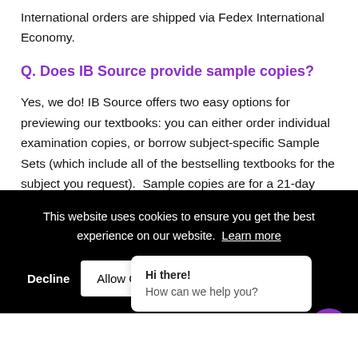International orders are shipped via Fedex International Economy.
Q. Does IB Source provide sample copies?
Yes, we do! IB Source offers two easy options for previewing our textbooks: you can either order individual examination copies, or borrow subject-specific Sample Sets (which include all of the bestselling textbooks for the subject you request).  Sample copies are for a 21-day
This website uses cookies to ensure you get the best experience on our website.  Learn more
Decline
Allow Cookies
Hi there!
How can we help you?